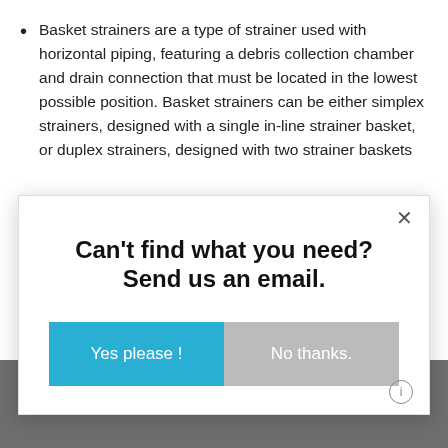Basket strainers are a type of strainer used with horizontal piping, featuring a debris collection chamber and drain connection that must be located in the lowest possible position. Basket strainers can be either simplex strainers, designed with a single in-line strainer basket, or duplex strainers, designed with two strainer baskets...
Can't find what you need? Send us an email.
Yes please !
No thanks.